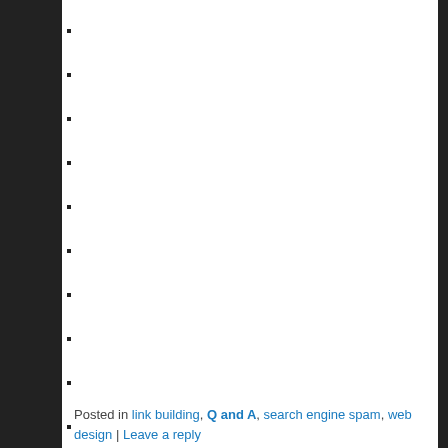Tweet (button)
Share (LinkedIn button)
Posted in link building, Q and A, search engine spam, web design | Leave a reply